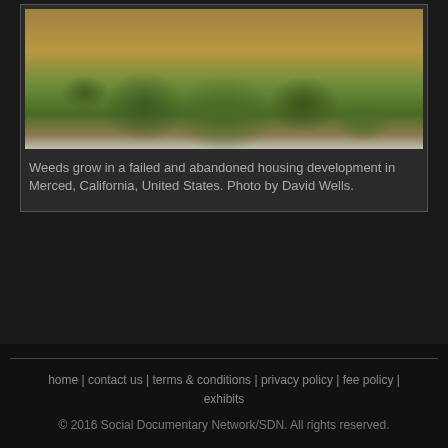[Figure (photo): Photograph of weeds growing in a failed and abandoned housing development in Merced, California, United States. Photo by David Wells.]
Weeds grow in a failed and abandoned housing development in Merced, California, United States. Photo by David Wells.
home | contact us | terms & conditions | privacy policy | fee policy | exhibits
© 2016 Social Documentary Network/SDN. All rights reserved.